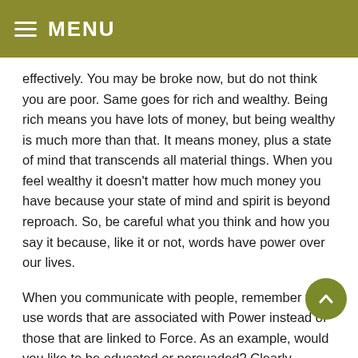≡ MENU
effectively. You may be broke now, but do not think you are poor. Same goes for rich and wealthy. Being rich means you have lots of money, but being wealthy is much more than that. It means money, plus a state of mind that transcends all material things. When you feel wealthy it doesn't matter how much money you have because your state of mind and spirit is beyond reproach. So, be careful what you think and how you say it because, like it or not, words have power over our lives.
When you communicate with people, remember to use words that are associated with Power instead of those that are linked to Force. As an example, would you like to be educated or persuaded? Clearly, education represents power and persuasion indicates force. Next time you want someone to do something, stop your persuading and stick to educating! Here's another one for you. How do you feel when you're being promoted to all the time? How about trying encouragement instead of promotion?